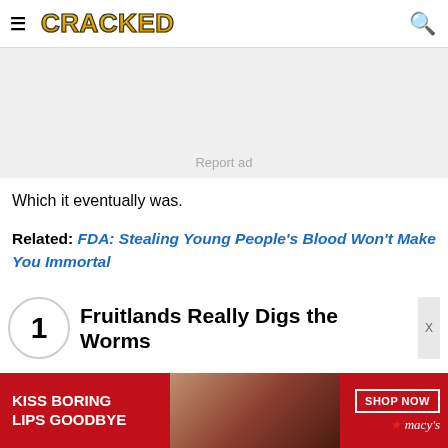CRACKED
[Figure (other): Advertisement placeholder box with 'Report ad' label]
Which it eventually was.
Related: FDA: Stealing Young People's Blood Won't Make You Immortal
1 Fruitlands Really Digs the Worms
[Figure (other): Banner advertisement: Kiss Boring Lips Goodbye — Macy's Shop Now]